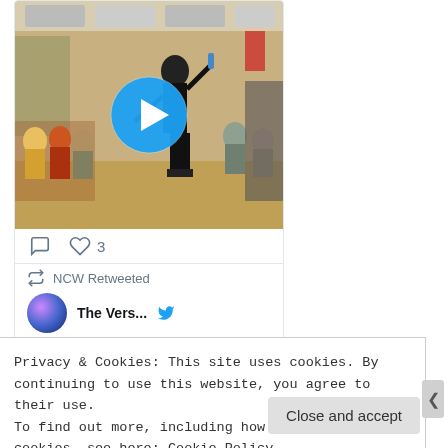[Figure (screenshot): Twitter/social media card showing a video thumbnail of a person in a room with audience, with a blue play button overlay. Below are like/comment icons with count 3. A retweet indicator says 'NCW Retweeted'. A user row shows a globe avatar, username 'The Vers...' and a blue Twitter bird icon.]
Privacy & Cookies: This site uses cookies. By continuing to use this website, you agree to their use.
To find out more, including how to control cookies, see here: Cookie Policy
Close and accept